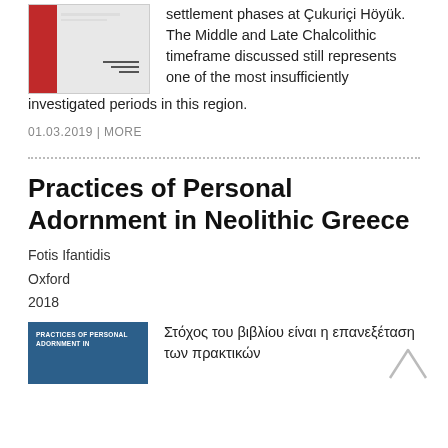[Figure (illustration): Small book cover thumbnail with red spine and grey background with horizontal lines]
settlement phases at Çukuriçi Höyük. The Middle and Late Chalcolithic timeframe discussed still represents one of the most insufficiently investigated periods in this region.
01.03.2019 | MORE
Practices of Personal Adornment in Neolithic Greece
Fotis Ifantidis
Oxford
2018
[Figure (illustration): Blue book cover with white text reading PRACTICES OF PERSONAL ADORNMENT IN (partially visible)]
Στόχος του βιβλίου είναι η επανεξέταση των πρακτικών